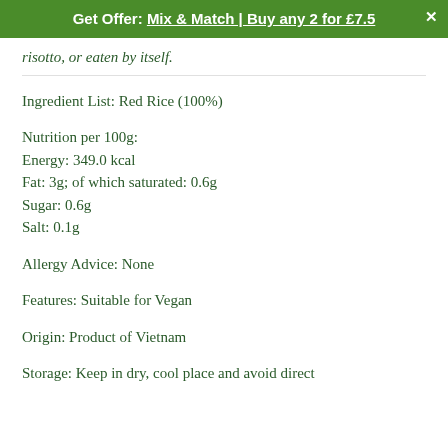Get Offer: Mix & Match | Buy any 2 for £7.5
risotto, or eaten by itself.
Ingredient List: Red Rice (100%)
Nutrition per 100g:
Energy: 349.0 kcal
Fat: 3g; of which saturated: 0.6g
Sugar: 0.6g
Salt: 0.1g
Allergy Advice: None
Features: Suitable for Vegan
Origin: Product of Vietnam
Storage: Keep in dry, cool place and avoid direct